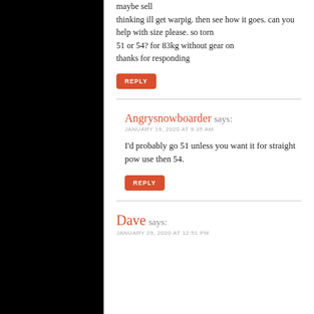maybe sell
thinking ill get warpig. then see how it goes. can you help with size please. so torn
51 or 54? for 83kg without gear on
thanks for responding
REPLY
Angrysnowboarder says:
JANUARY 19, 2020 AT 9:35 AM
I'd probably go 51 unless you want it for straight pow use then 54.
REPLY
Dave says:
JANUARY 29, 2020 AT 12:51 PM